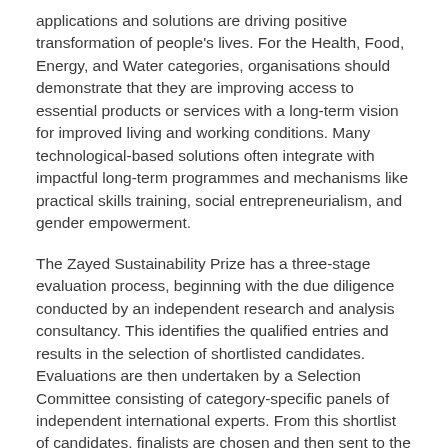applications and solutions are driving positive transformation of people's lives. For the Health, Food, Energy, and Water categories, organisations should demonstrate that they are improving access to essential products or services with a long-term vision for improved living and working conditions. Many technological-based solutions often integrate with impactful long-term programmes and mechanisms like practical skills training, social entrepreneurialism, and gender empowerment.
The Zayed Sustainability Prize has a three-stage evaluation process, beginning with the due diligence conducted by an independent research and analysis consultancy. This identifies the qualified entries and results in the selection of shortlisted candidates. Evaluations are then undertaken by a Selection Committee consisting of category-specific panels of independent international experts. From this shortlist of candidates, finalists are chosen and then sent to the Prize Jury who select the winners, across all five categories.